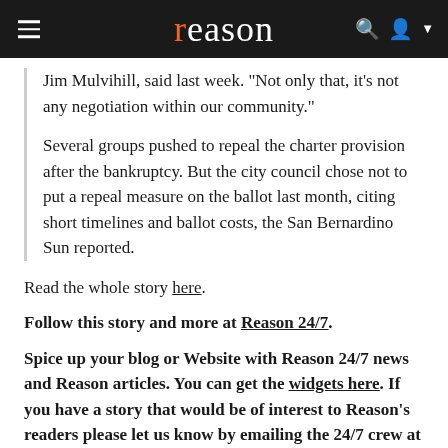reason
Jim Mulvihill, said last week. "Not only that, it's not any negotiation within our community."
Several groups pushed to repeal the charter provision after the bankruptcy. But the city council chose not to put a repeal measure on the ballot last month, citing short timelines and ballot costs, the San Bernardino Sun reported.
Read the whole story here.
Follow this story and more at Reason 24/7.
Spice up your blog or Website with Reason 24/7 news and Reason articles. You can get the widgets here. If you have a story that would be of interest to Reason's readers please let us know by emailing the 24/7 crew at 24_7@reason.com, or tweet us stories at @reason247.